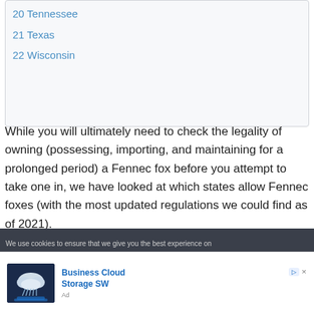20 Tennessee
21 Texas
22 Wisconsin
While you will ultimately need to check the legality of owning (possessing, importing, and maintaining for a prolonged period) a Fennec fox before you attempt to take one in, we have looked at which states allow Fennec foxes (with the most updated regulations we could find as of 2021).
We use cookies to ensure that we give you the best experience on
[Figure (photo): Advertisement showing a cloud with rain over a glowing blue digital surface, with text 'Business Cloud Storage SW']